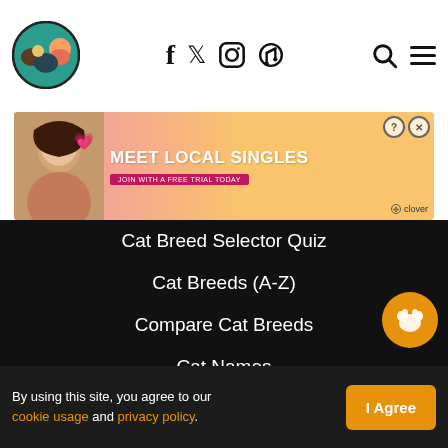Logo | Social icons: f, Twitter, Instagram, Pinterest | Search, Menu
[Figure (photo): Advertisement banner: Meet Local Singles - Join with a free trial today - Clover dating app ad with photo of woman]
Cat Breed Selector Quiz
Cat Breeds (A-Z)
Compare Cat Breeds
Cat Names
Services
Pet Sitters
By using this site, you agree to our cookie usage and privacy policy. | I Agree